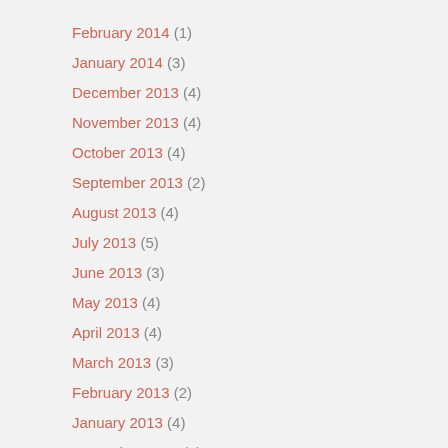February 2014 (1)
January 2014 (3)
December 2013 (4)
November 2013 (4)
October 2013 (4)
September 2013 (2)
August 2013 (4)
July 2013 (5)
June 2013 (3)
May 2013 (4)
April 2013 (4)
March 2013 (3)
February 2013 (2)
January 2013 (4)
December 2012 (4)
November 2012 (3)